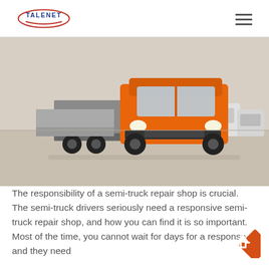TALENET
[Figure (photo): Orange semi-truck / tractor unit parked in a yard with other vehicles, viewed from front-left angle. Gray concrete surface, other cars visible in background.]
The responsibility of a semi-truck repair shop is crucial. The semi-truck drivers seriously need a responsive semi-truck repair shop, and how you can find it is so important. Most of the time, you cannot wait for days for a response, and they need